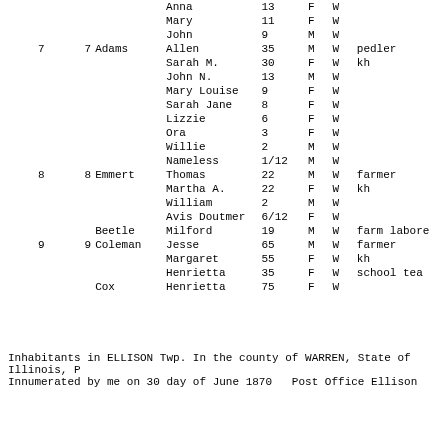| Dwelling | Family | Surname | First Name | Age last | Sex | Color | Profession |
| --- | --- | --- | --- | --- | --- | --- | --- |
|  |  |  | Anna | 13 | F | W |  |
|  |  |  | Mary | 11 | F | W |  |
|  |  |  | John | 9 | M | W |  |
| 7 | 7 | Adams | Allen | 35 | M | W | pedler |
|  |  |  | Sarah M. | 30 | F | W | kh |
|  |  |  | John N. | 13 | M | W |  |
|  |  |  | Mary Louise | 9 | F | W |  |
|  |  |  | Sarah Jane | 8 | F | W |  |
|  |  |  | Lizzie | 6 | F | W |  |
|  |  |  | Ora | 3 | F | W |  |
|  |  |  | Willie | 2 | M | W |  |
|  |  |  | Nameless | 1/12 | M | W |  |
| 8 | 8 | Emmert | Thomas | 22 | M | W | farmer |
|  |  |  | Martha A. | 22 | F | W | kh |
|  |  |  | William | 2 | M | W |  |
|  |  |  | Avis Doutmer | 6/12 | F | W |  |
|  |  | Beetle | Milford | 19 | M | W | farm laborer |
| 9 | 9 | Coleman | Jesse | 65 | M | W | farmer |
|  |  |  | Margaret | 55 | F | W | kh |
|  |  |  | Henrietta | 35 | F | W | school teacher |
|  |  | Cox | Henrietta | 75 | F | W |  |
Inhabitants in ELLISON Twp. In the county of WARREN, State of Illinois, P
Innumerated by me on 30 day of June 1870   Post Office Ellison
| Dwelling | Family | Names in |  |  | Age last | Sex | Color | Profession |
| --- | --- | --- | --- | --- | --- | --- | --- | --- |